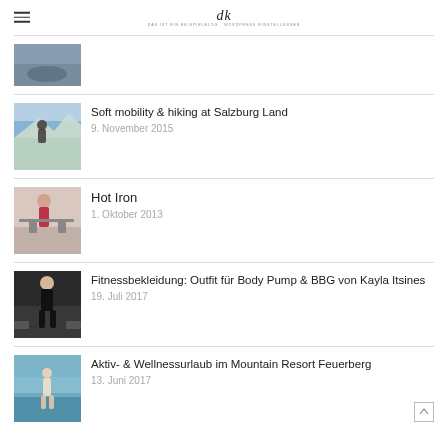ck [logo]
[Figure (photo): Partial thumbnail of a fitness/gym scene, top of list]
[Figure (photo): Person standing on a mountain viewpoint looking at alps landscape]
Soft mobility & hiking at Salzburg Land
9. November 2015
[Figure (photo): Woman doing barbell exercise in gym (Hot Iron workout)]
Hot Iron
1. Oktober 2013
[Figure (photo): Woman in black fitness outfit with gym equipment]
Fitnessbekleidung: Outfit für Body Pump & BBG von Kayla Itsines
19. Juli 2017
[Figure (photo): Person standing by water in active wear]
Aktiv- & Wellnessurlaub im Mountain Resort Feuerberg
13. Juni 2017